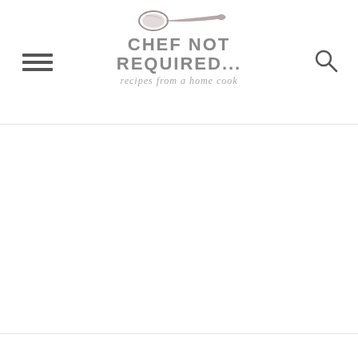[Figure (logo): Chef Not Required logo with a spoon illustration above bold text reading CHEF NOT REQUIRED... with italic tagline 'recipes from a home cook']
CHEF NOT REQUIRED... recipes from a home cook